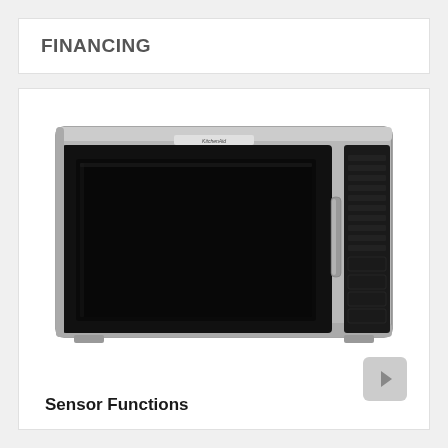FINANCING
[Figure (photo): KitchenAid over-the-range microwave oven in stainless steel with black door panel and control panel on right side]
Sensor Functions